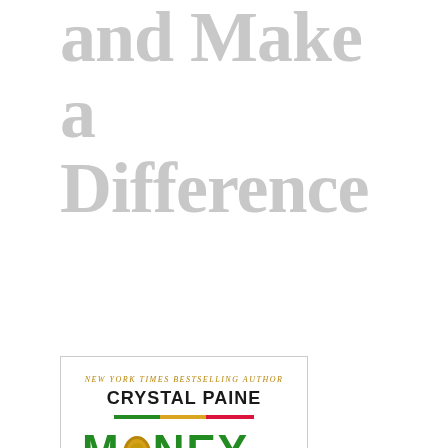and Make a Difference
[Figure (illustration): Book cover of 'Money Making Mom' by Crystal Paine, New York Times Bestselling Author. The cover shows the title in large bold text: MONEY in green, MAKING in gold/yellow, MOM in red/crimson. A coin image replaces the 'O' in MONEY. Subtitle reads 'How Every Woman Can Earn More and Make a Difference'. A colored stripe divider appears above and below the title block.]